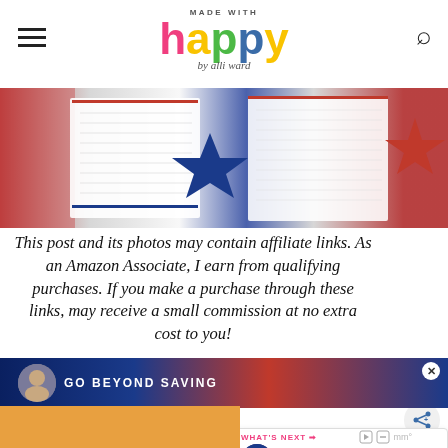MADE WITH happy by alli ward
[Figure (photo): Patriotic 4th of July printable activity sheets with red, white and blue star decorations on white background]
This post and its photos may contain affiliate links. As an Amazon Associate, I earn from qualifying purchases. If you make a purchase through these links, may receive a small commission at no extra cost to you!
[Figure (infographic): WHAT'S NEXT arrow widget showing Free Printable 4th of July... with circular thumbnail]
[Figure (screenshot): Advertisement banner: GO BEYOND SAVING with orange and blue block at bottom]